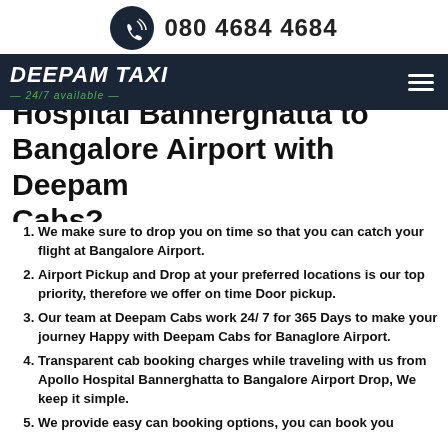080 4684 4684
[Figure (logo): Deepam Taxi logo with 24/7 available tagline on dark navy background, hamburger menu icon on right]
Hospital Bannerghatta to Bangalore Airport with Deepam Cabs?
We make sure to drop you on time so that you can catch your flight at Bangalore Airport.
Airport Pickup and Drop at your preferred locations is our top priority, therefore we offer on time Door pickup.
Our team at Deepam Cabs work 24/ 7 for 365 Days to make your journey Happy with Deepam Cabs for Banaglore Airport.
Transparent cab booking charges while traveling with us from Apollo Hospital Bannerghatta to Bangalore Airport Drop, We keep it simple.
We provide easy can booking options, you can book you